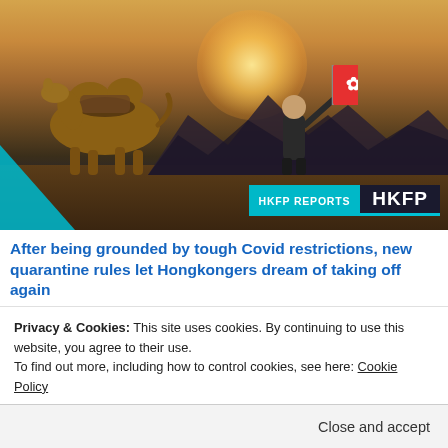[Figure (photo): Person holding red Hong Kong flag with a camel in a desert landscape at sunset, with HKFP Reports badge overlay]
After being grounded by tough Covid restrictions, new quarantine rules let Hongkongers dream of taking off again
[Figure (photo): Three thumbnail images: a person statue, a person in front of a wall, and law books/wigs]
Privacy & Cookies: This site uses cookies. By continuing to use this website, you agree to their use.
To find out more, including how to control cookies, see here: Cookie Policy
Close and accept